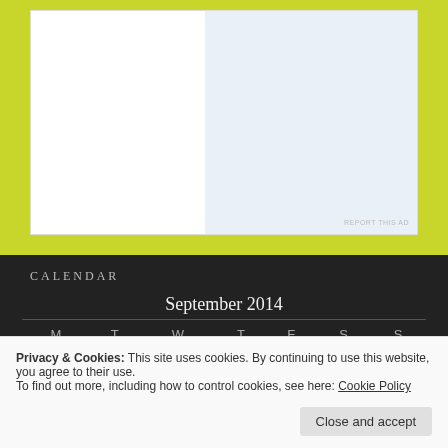[Figure (other): Advertisement banner area with white box and light blue inner panel, 'REPORT THIS AD' text at bottom right]
CALENDAR
September 2014
| M | T | W | T | F | S | S |
| --- | --- | --- | --- | --- | --- | --- |
| 1 | 2 | 3 | 4 | 5 | 6 | 7 |
| 22 | 23 | 24 | 25 | 26 | 27 | 28 |
Privacy & Cookies: This site uses cookies. By continuing to use this website, you agree to their use.
To find out more, including how to control cookies, see here: Cookie Policy
Close and accept